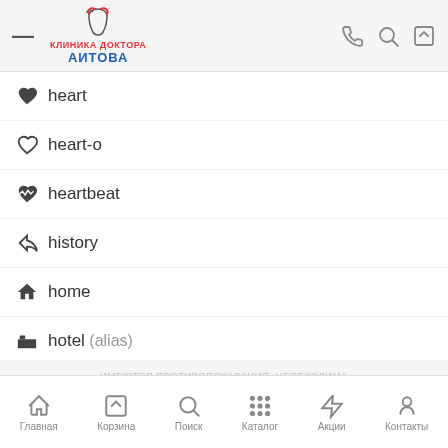[Figure (logo): Клиника Доктора Аитова logo with tooth icon, hamburger menu, phone, search, and cart icons]
heart
heart-o
heartbeat
history
home
hotel (alias)
image (alias)
inbox
info
info-circle
institution (alias)
ИМЕЮТСЯ ПРОТИВОПОКАЗАНИЯ. НЕОБХОДИМА КОНСУЛЬТАЦИЯ СПЕЦИАЛИСТА
language
Главная Корзина Поиск Каталог Акции Контакты